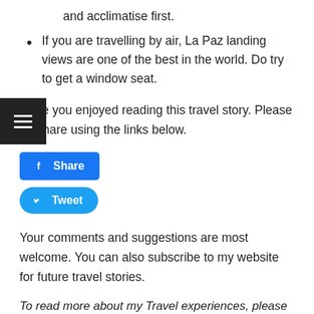and acclimatise first.
If you are travelling by air, La Paz landing views are one of the best in the world. Do try to get a window seat.
Hope you enjoyed reading this travel story. Please do share using the links below.
[Figure (other): Facebook Share button (blue rounded rectangle) and Twitter Tweet button (blue pill shape)]
Your comments and suggestions are most welcome. You can also subscribe to my website for future travel stories.
To read more about my Travel experiences, please Like and Follow my Facebook page, follow me on Twitter, Instagram and look out for some short videos on my YouTube channel.